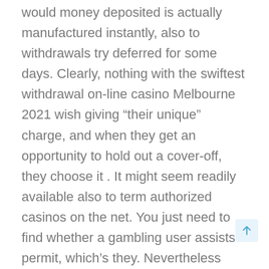would money deposited is actually manufactured instantly, also to withdrawals try deferred for some days. Clearly, nothing with the swiftest withdrawal on-line casino Melbourne 2021 wish giving “their unique” charge, and when they get an opportunity to hold out a cover-off, they choose it . It might seem readily available also to term authorized casinos on the net. You just need to find whether a gambling user assists a permit, which’s they. Nevertheless when you are considering your own ins and outs of this action, you certainly will visited trouble. Simply because you need to make sure whether or not the toss license is valid and in case they hasn’t expired.
Positive, there are a number web based casinos i australia which can pay out actual money. Advice are generally Woo Playing, King Johnnie, Outrageous Credit